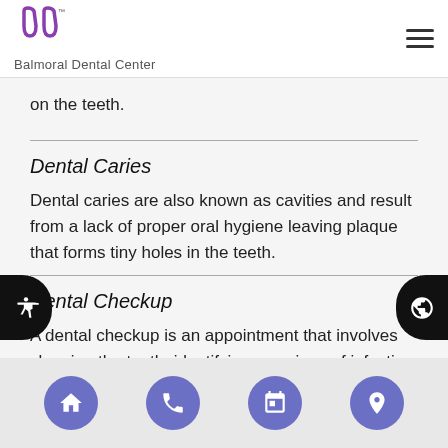Balmoral Dental Center
on the teeth.
Dental Caries
Dental caries are also known as cavities and result from a lack of proper oral hygiene leaving plaque that forms tiny holes in the teeth.
Dental Checkup
A dental checkup is an appointment that involves cleaning the teeth, identifying any signs of infection and removing said signs of infection at least once